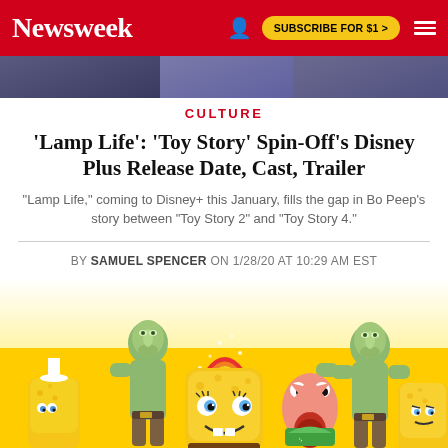Newsweek  SUBSCRIBE FOR $1 >
[Figure (photo): Hero image strip showing partial photos]
CULTURE
'Lamp Life': 'Toy Story' Spin-Off's Disney Plus Release Date, Cast, Trailer
"Lamp Life," coming to Disney+ this January, fills the gap in Bo Peep's story between "Toy Story 2" and "Toy Story 4."
BY SAMUEL SPENCER ON 1/28/20 AT 10:29 AM EST
[Figure (photo): SpongeBob SquarePants action figure toys including SpongeBob, Patrick, Squidward muscular figures and other characters arranged together]